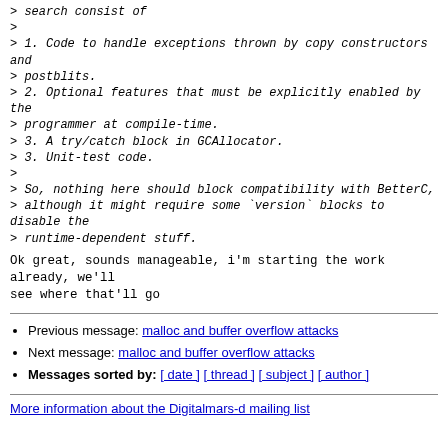> search consist of
>
> 1. Code to handle exceptions thrown by copy constructors and
> postblits.
> 2. Optional features that must be explicitly enabled by the
> programmer at compile-time.
> 3. A try/catch block in GCAllocator.
> 3. Unit-test code.
>
> So, nothing here should block compatibility with BetterC,
> although it might require some `version` blocks to disable the
> runtime-dependent stuff.
Ok great, sounds manageable, i'm starting the work already, we'll
see where that'll go
Previous message: malloc and buffer overflow attacks
Next message: malloc and buffer overflow attacks
Messages sorted by: [ date ] [ thread ] [ subject ] [ author ]
More information about the Digitalmars-d mailing list